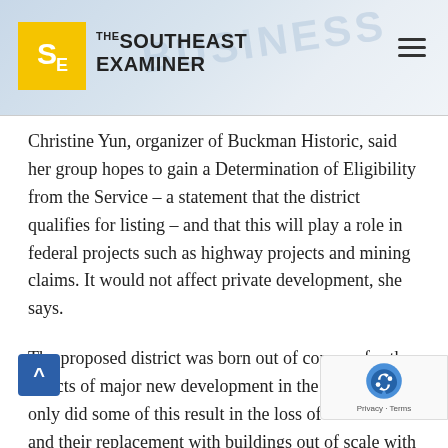THE SOUTHEAST EXAMINER
Christine Yun, organizer of Buckman Historic, said her group hopes to gain a Determination of Eligibility from the Service – a statement that the district qualifies for listing – and that this will play a role in federal projects such as highway projects and mining claims. It would not affect private development, she says.
The proposed district was born out of concern for the effects of major new development in the area. Not only did some of this result in the loss of older homes and their replacement with buildings out of scale with their surroundings, critics charged, but the design of such structures showed no appreciation of the character of the area around them.